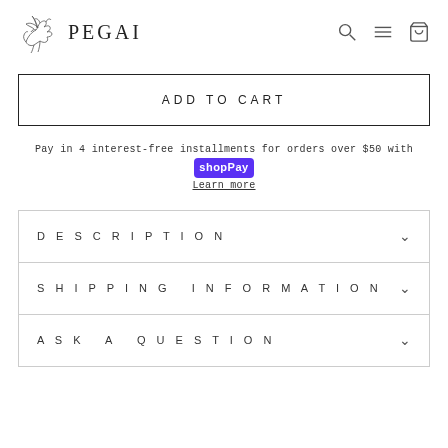PEGAI
ADD TO CART
Pay in 4 interest-free installments for orders over $50 with Shop Pay
Learn more
DESCRIPTION
SHIPPING INFORMATION
ASK A QUESTION